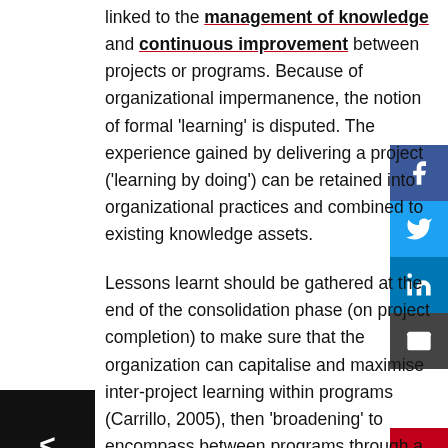linked to the management of knowledge and continuous improvement between projects or programs. Because of organizational impermanence, the notion of formal 'learning' is disputed. The experience gained by delivering a project ('learning by doing') can be retained into organizational practices and combined to existing knowledge assets.
Lessons learnt should be gathered at the end of the consolidation phase (on project completion) to make sure that the organization can capitalise and maximise inter-project learning within programs (Carrillo, 2005), then 'broadening' to encompass between programs through a dedicated PMO support team, before finally taking a macro view of managing programs in general from a governance